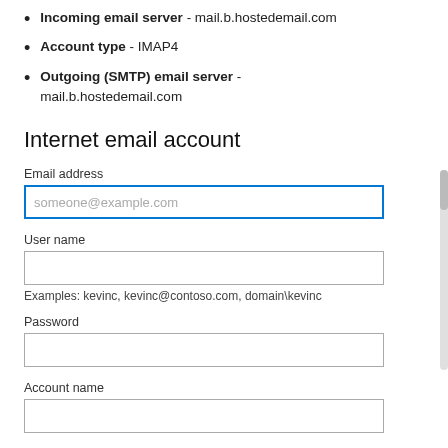Incoming email server - mail.b.hostedemail.com
Account type - IMAP4
Outgoing (SMTP) email server - mail.b.hostedemail.com
Internet email account
Email address
[Figure (screenshot): Email address input field with placeholder 'someone@example.com', highlighted with blue border]
User name
[Figure (screenshot): User name empty input field]
Examples: kevinc, kevinc@contoso.com, domain\kevinc
Password
[Figure (screenshot): Password empty input field]
Account name
[Figure (screenshot): Account name empty input field]